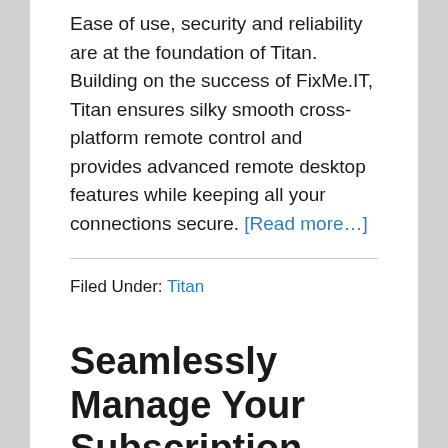Ease of use, security and reliability are at the foundation of Titan. Building on the success of FixMe.IT, Titan ensures silky smooth cross-platform remote control and provides advanced remote desktop features while keeping all your connections secure. [Read more…]
Filed Under: Titan
Seamlessly Manage Your Subscription